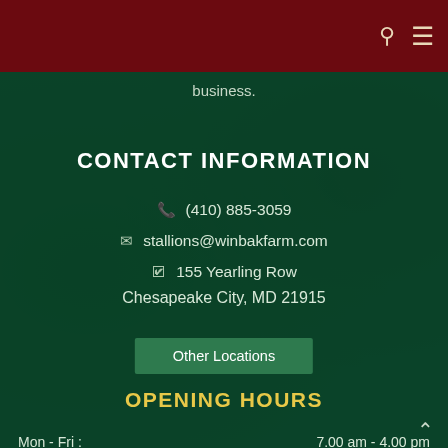Navigation bar with search and menu icons
business.
CONTACT INFORMATION
(410) 885-3059
stallions@winbakfarm.com
155 Yearling Row
Chesapeake City, MD 21915
Other Locations
OPENING HOURS
Mon - Fri :    7.00 am - 4.00 pm
Sat :    7.00 am - 2.00 pm